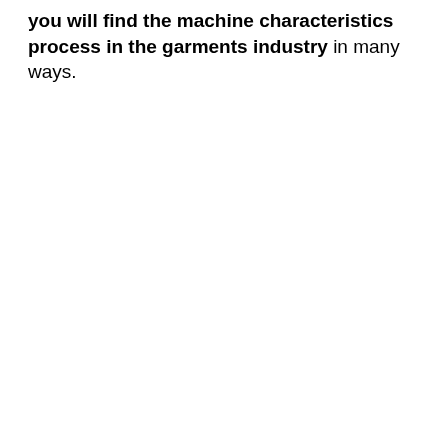you will find the machine characteristics process in the garments industry in many ways.